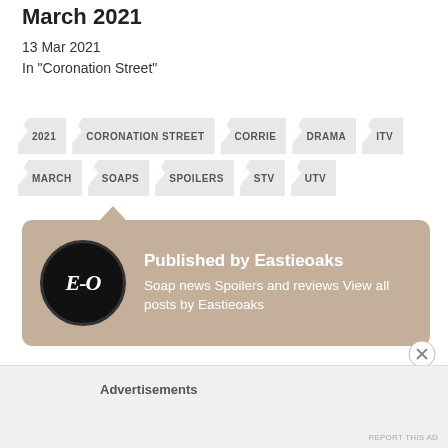March 2021
13 Mar 2021
In "Coronation Street"
2021
CORONATION STREET
CORRIE
DRAMA
ITV
MARCH
SOAPS
SPOILERS
STV
UTV
Published by Eastieoaks
Soap news Spoilers and reviews View all posts by Eastieoaks
Advertisements